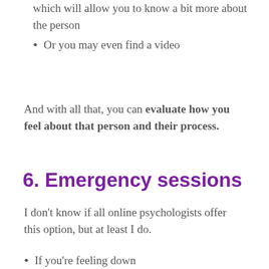which will allow you to know a bit more about the person
Or you may even find a video
And with all that, you can evaluate how you feel about that person and their process.
6. Emergency sessions
I don't know if all online psychologists offer this option, but at least I do.
If you're feeling down